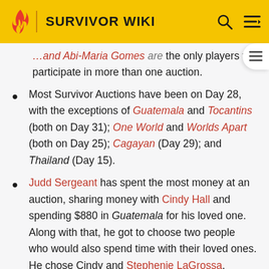SURVIVOR WIKI
the only players to participate in more than one auction.
Most Survivor Auctions have been on Day 28, with the exceptions of Guatemala and Tocantins (both on Day 31); One World and Worlds Apart (both on Day 25); Cagayan (Day 29); and Thailand (Day 15).
Judd Sergeant has spent the most money at an auction, sharing money with Cindy Hall and spending $880 in Guatemala for his loved one. Along with that, he got to choose two people who would also spend time with their loved ones. He chose Cindy and Stephenie LaGrossa.
Ken Hoang holds the record for the most money on hand during an auction. In the Gabon auction, Ken had